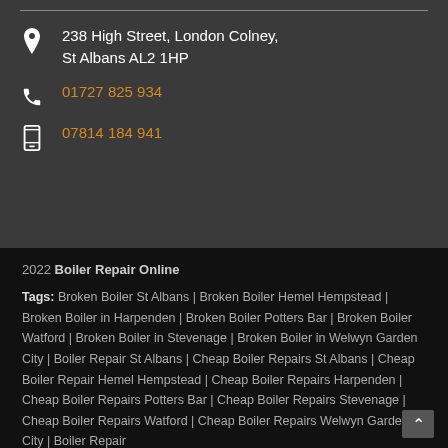238 High Street, London Colney, St Albans AL2 1HP
01727 825 934
07814 184 941
2022 Boiler Repair Online
Tags: Broken Boiler St Albans | Broken Boiler Hemel Hempstead | Broken Boiler in Harpenden | Broken Boiler Potters Bar | Broken Boiler Watford | Broken Boiler in Stevenage | Broken Boiler in Welwyn Garden City | Boiler Repair St Albans | Cheap Boiler Repairs St Albans | Cheap Boiler Repair Hemel Hempstead | Cheap Boiler Repairs Harpenden | Cheap Boiler Repairs Potters Bar | Cheap Boiler Repairs Stevenage | Cheap Boiler Repairs Watford | Cheap Boiler Repairs Welwyn Garden City | Boiler Repair